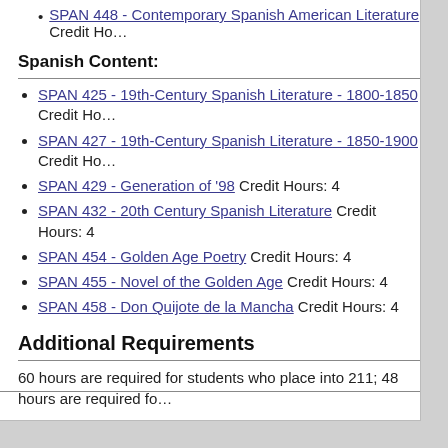SPAN 448 - Contemporary Spanish American Literature Credit Ho…
Spanish Content:
SPAN 425 - 19th-Century Spanish Literature - 1800-1850 Credit Ho…
SPAN 427 - 19th-Century Spanish Literature - 1850-1900 Credit Ho…
SPAN 429 - Generation of '98 Credit Hours: 4
SPAN 432 - 20th Century Spanish Literature Credit Hours: 4
SPAN 454 - Golden Age Poetry Credit Hours: 4
SPAN 455 - Novel of the Golden Age Credit Hours: 4
SPAN 458 - Don Quijote de la Mancha Credit Hours: 4
Additional Requirements
60 hours are required for students who place into 211; 48 hours are required fo…
Study abroad is highly recommended.
Students are required to pass an Oral Proficiency Exam (OPI) at Advanced Lo…